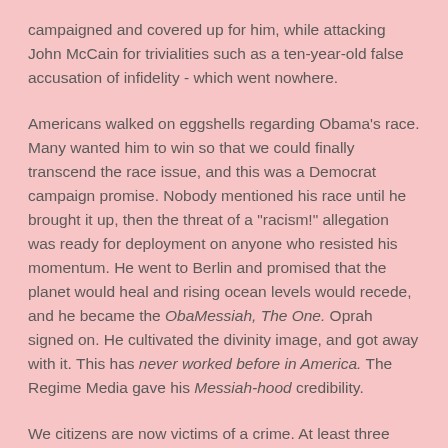campaigned and covered up for him, while attacking John McCain for trivialities such as a ten-year-old false accusation of infidelity - which went nowhere.
Americans walked on eggshells regarding Obama's race. Many wanted him to win so that we could finally transcend the race issue, and this was a Democrat campaign promise. Nobody mentioned his race until he brought it up, then the threat of a "racism!" allegation was ready for deployment on anyone who resisted his momentum. He went to Berlin and promised that the planet would heal and rising ocean levels would recede, and he became the ObaMessiah, The One. Oprah signed on. He cultivated the divinity image, and got away with it. This has never worked before in America. The Regime Media gave his Messiah-hood credibility.
We citizens are now victims of a crime. At least three crimes, in fact. Our nation is being destroyed from within, and there can no longer be any doubt. The only question is whether it's deliberate. But the legal term for the first crime, reckless endangerment - a felony - doesn't distinguish. It doesn't matter. If you drive drunk, you're guilty of reckless endangerment. It's a crime even when damages are not realized. But if someone dies it